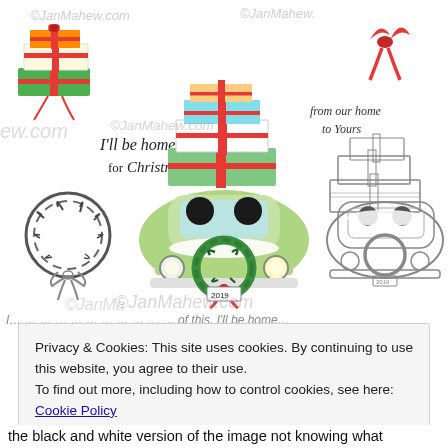[Figure (illustration): Christmas illustration by JanMahew.com showing: top-left colorful stacked gift boxes with bows, top-center large stack of wrapped presents, top-right cursive text 'from our home to Yours' with a red bow/ribbon, center a green vintage car from the front with snow on top, a wreath with red bow on the front, two silhouetted figures inside, license plate '2019', left a pine/winter wreath with bow, right black-and-white version of the same car scene. Multiple watermark overlays reading '©JanMahew.com'. Text 'I'll be home for Christmas' in decorative script at center-left.]
Privacy & Cookies: This site uses cookies. By continuing to use this website, you agree to their use.
To find out more, including how to control cookies, see here: Cookie Policy
the black and white version of the image not knowing what